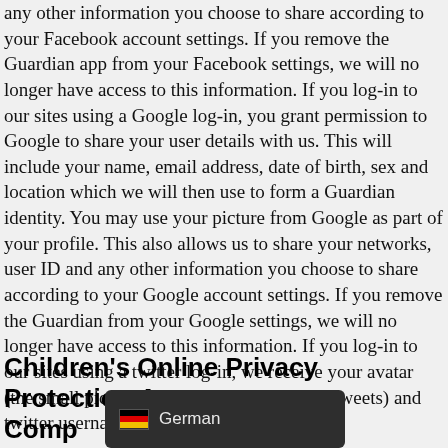any other information you choose to share according to your Facebook account settings. If you remove the Guardian app from your Facebook settings, we will no longer have access to this information. If you log-in to our sites using a Google log-in, you grant permission to Google to share your user details with us. This will include your name, email address, date of birth, sex and location which we will then use to form a Guardian identity. You may use your picture from Google as part of your profile. This also allows us to share your networks, user ID and any other information you choose to share according to your Google account settings. If you remove the Guardian from your Google settings, we will no longer have access to this information. If you log-in to our sites using a twitter log-in, we receive your avatar (the small picture that appears next to your tweets) and twitter username.
Children's Online Privacy Protection Act Comp…